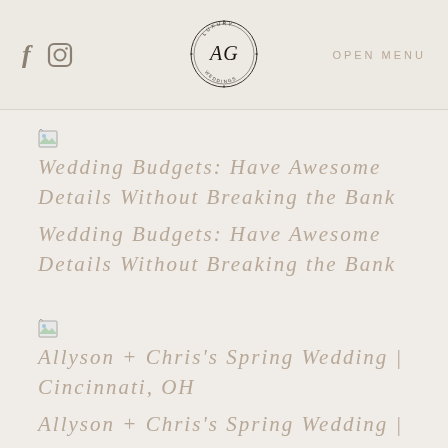f [instagram icon] AG LUXURY WEDDINGS OPEN MENU
Wedding Budgets: Have Awesome Details Without Breaking the Bank
Wedding Budgets: Have Awesome Details Without Breaking the Bank
Allyson + Chris's Spring Wedding | Cincinnati, OH
Allyson + Chris's Spring Wedding |